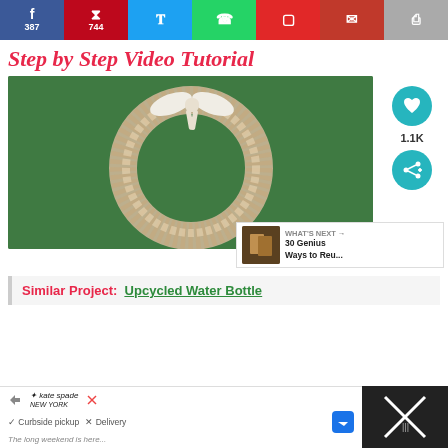[Figure (infographic): Social sharing bar with Facebook (387), Pinterest (744), Twitter, WhatsApp, Flipboard, email, and print buttons]
Step by Step Video Tutorial
[Figure (photo): A wreath made from folded book pages arranged in a circle with a white ribbon bow at the top, set against green grass background]
[Figure (infographic): Sidebar with heart/like button showing 1.1K and a share button]
[Figure (infographic): What's Next panel showing thumbnail and text: 30 Genius Ways to Reu...]
Similar Project:  Upcycled Water Bottle
[Figure (infographic): Advertisement banner from Kate Spade showing curbside pickup and delivery options with navigation arrow]